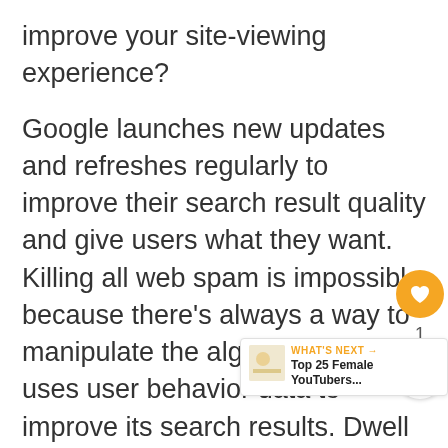improve your site-viewing experience?
Google launches new updates and refreshes regularly to improve their search result quality and give users what they want. Killing all web spam is impossible because there's always a way to manipulate the algorithm. Google uses user behavior data to improve its search results. Dwell time and pogosticking are used to rank websites on SERP. It's clear that Google looks at user behavior and uses it as a key factor in evaluating the site's online worth.
When you first start an SEO campaign, the first thing you must analyze is your website experience. It's best to gain more organic traffic by implementing on-page and off-page